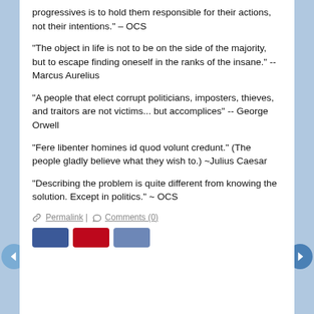progressives is to hold them responsible for their actions, not their intentions." – OCS
"The object in life is not to be on the side of the majority, but to escape finding oneself in the ranks of the insane." -- Marcus Aurelius
“A people that elect corrupt politicians, imposters, thieves, and traitors are not victims... but accomplices” -- George Orwell
“Fere libenter homines id quod volunt credunt.” (The people gladly believe what they wish to.) ~Julius Caesar
“Describing the problem is quite different from knowing the solution. Except in politics.” ~ OCS
🔗 Permalink | 💬 Comments (0)